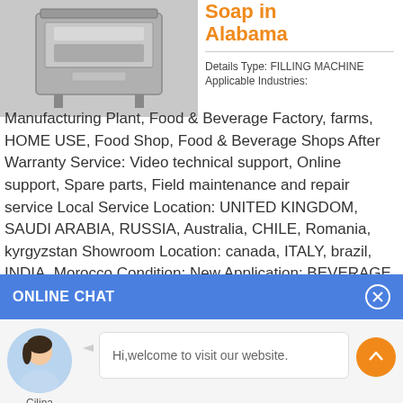[Figure (photo): Industrial filling machine, stainless steel, top view]
Soap in Alabama
Details Type: FILLING MACHINE Applicable Industries: Manufacturing Plant, Food & Beverage Factory, farms, HOME USE, Food Shop, Food & Beverage Shops After Warranty Service: Video technical support, Online support, Spare parts, Field maintenance and repair service Local Service Location: UNITED KINGDOM, SAUDI ARABIA, RUSSIA, Australia, CHILE, Romania, kyrgyzstan Showroom Location: canada, ITALY, brazil, INDIA, Morocco Condition: New Application: BEVERAGE, CHEMICAL, ...
ONLINE CHAT
[Figure (photo): Avatar photo of chat agent named Cilina]
Hi,welcome to visit our website.
Cilina